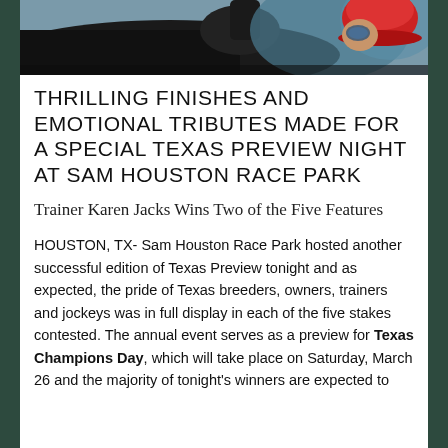[Figure (photo): Horse racing photo showing a dark horse and jockey wearing a red helmet, close-up shot]
THRILLING FINISHES AND EMOTIONAL TRIBUTES MADE FOR A SPECIAL TEXAS PREVIEW NIGHT AT SAM HOUSTON RACE PARK
Trainer Karen Jacks Wins Two of the Five Features
HOUSTON, TX- Sam Houston Race Park hosted another successful edition of Texas Preview tonight and as expected, the pride of Texas breeders, owners, trainers and jockeys was in full display in each of the five stakes contested. The annual event serves as a preview for Texas Champions Day, which will take place on Saturday, March 26 and the majority of tonight's winners are expected to